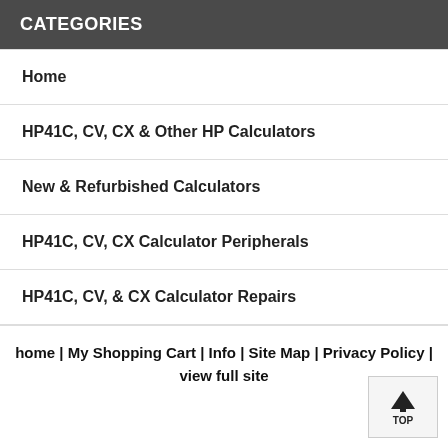CATEGORIES
Home
HP41C, CV, CX & Other HP Calculators
New & Refurbished Calculators
HP41C, CV, CX Calculator Peripherals
HP41C, CV, & CX Calculator Repairs
home | My Shopping Cart | Info | Site Map | Privacy Policy | view full site